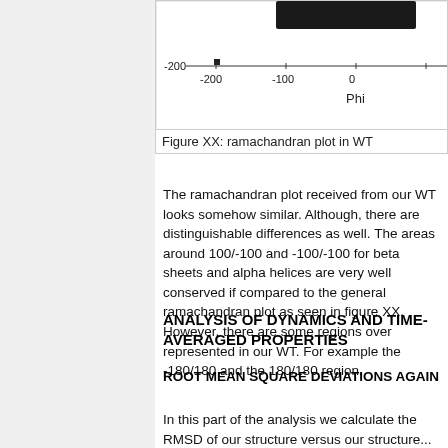[Figure (continuous-plot): Partial view of a Ramachandran plot (WT) showing the bottom portion with x-axis labeled Phi ranging from -200 to 0, and a -200 y-axis tick visible. Dark scatter cluster visible near top of the cropped plot area.]
Figure XX: ramachandran plot in WT
The ramachandran plot received from our WT looks somehow similar. Although, there are distinguishable differences as well. The areas around 100/-100 and -100/-100 for beta sheets and alpha helices are very well conserved if compared to the general ramachandran plot as seen in figure XX. However, there are some regions over represented in our WT. For example the -180/180 and the 180/180 region.
ANALYSIS OF DYNAMICS AND TIME-AVERAGED PROPERTIES
ROOT MEAN SQUARE DEVIATIONS AGAIN
In this part of the analysis we calculate the RMSD of our structure versus our structure...